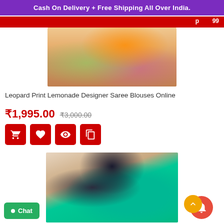Cash On Delivery + Free Shipping All Over India.
[Figure (photo): Product photo of a woman wearing a colorful saree blouse (partial view of torso), partially visible at top of page]
Leopard Print Lemonade Designer Saree Blouses Online
₹1,995.00  ₹3,000.00
[Figure (screenshot): Four red action icon buttons: cart, wishlist/heart, eye/quick view, and copy/compare]
[Figure (photo): Product photo of a woman in profile wearing a teal/green leopard print saree, with stone columns in background]